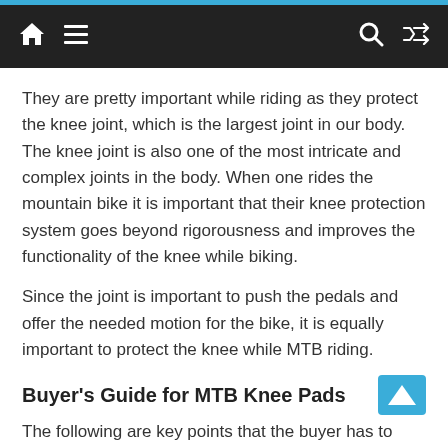Navigation bar with home, menu, search, and shuffle icons
They are pretty important while riding as they protect the knee joint, which is the largest joint in our body. The knee joint is also one of the most intricate and complex joints in the body. When one rides the mountain bike it is important that their knee protection system goes beyond rigorousness and improves the functionality of the knee while biking.
Since the joint is important to push the pedals and offer the needed motion for the bike, it is equally important to protect the knee while MTB riding.
Buyer's Guide for MTB Knee Pads
The following are key points that the buyer has to